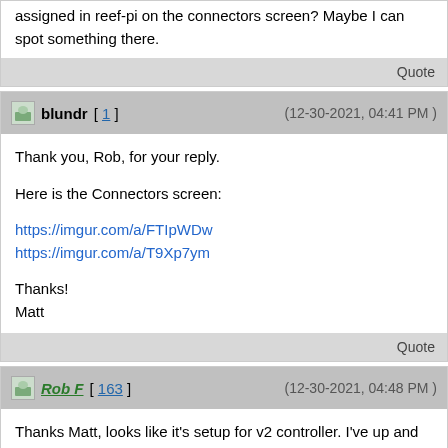assigned in reef-pi on the connectors screen? Maybe I can spot something there.
Quote
blundr [ 1 ]   (12-30-2021, 04:41 PM )
Thank you, Rob, for your reply.

Here is the Connectors screen:

https://imgur.com/a/FTIpWDw
https://imgur.com/a/T9Xp7ym

Thanks!
Matt
Quote
Rob F [ 163 ]   (12-30-2021, 04:48 PM )
Thanks Matt, looks like it's setup for v2 controller. I've up and confused everyone with all these different manuals. Yesterday I updated the install script so now it will ask what version of the controller you have and setup accordingly, like this it's one manual for everyone.